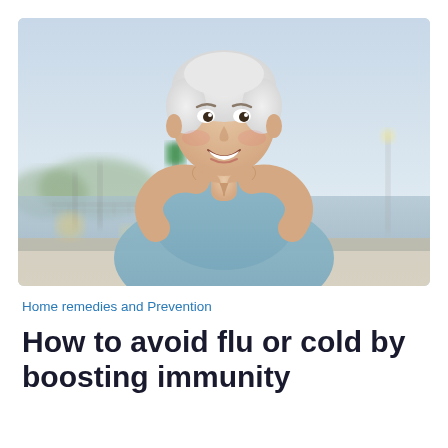[Figure (photo): A smiling older woman with short white hair wearing a light blue t-shirt, making a heart shape with her hands in front of her chest. She is standing outdoors near a waterfront with a bridge, green street sign, and light posts visible in the blurred background. The sky is pale blue.]
Home remedies and Prevention
How to avoid flu or cold by boosting immunity